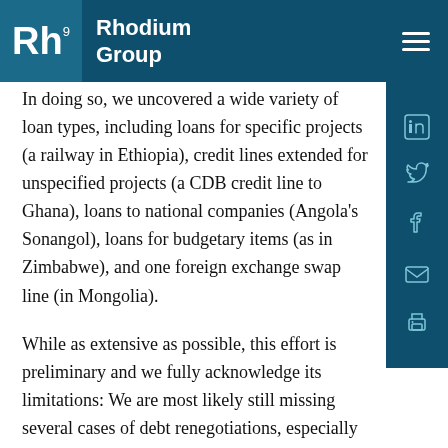Rhodium Group
In doing so, we uncovered a wide variety of loan types, including loans for specific projects (a railway in Ethiopia), credit lines extended for unspecified projects (a CDB credit line to Ghana), loans to national companies (Angola's Sonangol), loans for budgetary items (as in Zimbabwe), and one foreign exchange swap line (in Mongolia).
While as extensive as possible, this effort is preliminary and we fully acknowledge its limitations: We are most likely still missing several cases of debt renegotiations, especially when these are less publicized within public